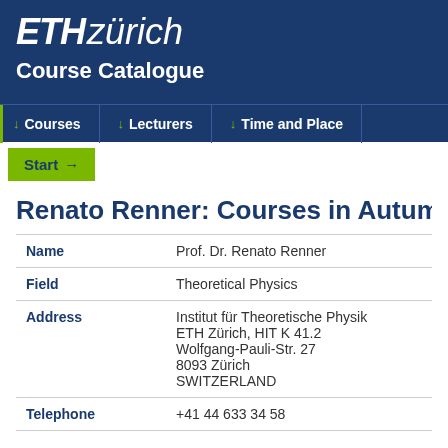[Figure (logo): ETH Zürich logo with italic bold ETH and regular zürich text in white on dark blue background]
Course Catalogue
Courses | Lecturers | Time and Place
Start →
Renato Renner: Courses in Autumn S
| Name | Prof. Dr. Renato Renner |
| Field | Theoretical Physics |
| Address | Institut für Theoretische Physik
ETH Zürich, HIT K 41.2
Wolfgang-Pauli-Str. 27
8093 Zürich
SWITZERLAND |
| Telephone | +41 44 633 34 58 |